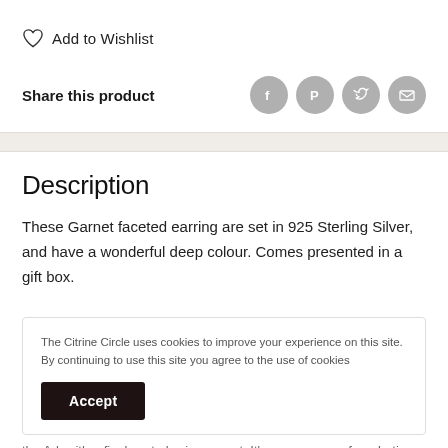Add to Wishlist
Share this product
Description
These Garnet faceted earring are set in 925 Sterling Silver, and have a wonderful deep colour. Comes presented in a gift box.
The Citrine Circle uses cookies to improve your experience on this site. By continuing to use this site you agree to the use of cookies
Accept
the Ark with a finely cut glowing garnet. It's name comes from Latin